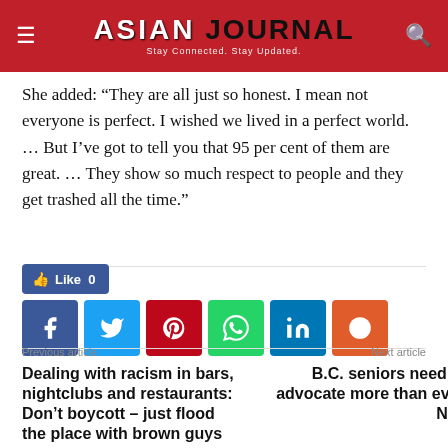ASIAN JOURNAL — Stay Connected. Stay Updated.
She added: “They are all just so honest. I mean not everyone is perfect. I wished we lived in a perfect world. … But I’ve got to tell you that 95 per cent of them are great. … They show so much respect to people and they get trashed all the time.”
[Figure (other): Facebook Like button showing count of 0, and a row of social sharing icons: Facebook, Twitter, Pinterest, WhatsApp, LinkedIn, Reddit]
Previous article
Dealing with racism in bars, nightclubs and restaurants: Don’t boycott – just flood the place with brown guys
Next article
B.C. seniors need an advocate more than ever: NDP